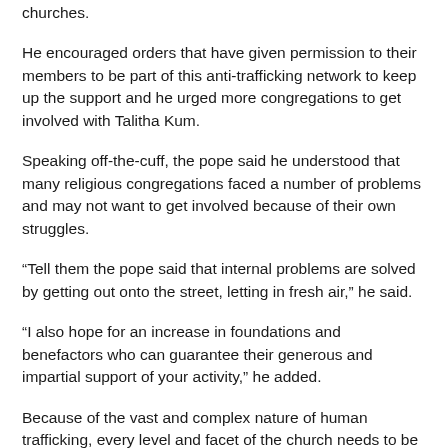churches.
He encouraged orders that have given permission to their members to be part of this anti-trafficking network to keep up the support and he urged more congregations to get involved with Talitha Kum.
Speaking off-the-cuff, the pope said he understood that many religious congregations faced a number of problems and may not want to get involved because of their own struggles.
“Tell them the pope said that internal problems are solved by getting out onto the street, letting in fresh air,” he said.
“I also hope for an increase in foundations and benefactors who can guarantee their generous and impartial support of your activity,” he added.
Because of the vast and complex nature of human trafficking, every level and facet of the church needs to be involved, he said.